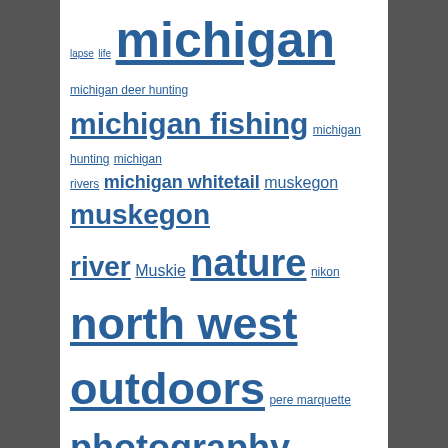[Figure (infographic): Tag cloud with various outdoor/fishing/hunting related tags in different sizes and blue color. Tags include: lapse, life, michigan, michigan deer hunting, michigan fishing, michigan hunting, michigan rivers, michigan whitetail, muskegon, muskegon river, Muskie, nature, nikon, north west outdoors, pere marquette, photography, pure michigan, rainbow trout, river, river fishing, salmon, Scouting, silver, skein, slr, steel, steelhead, steelhead fishing, steelhead steel center pin spawn, sturgeon, tips, trolling, trout, Walleye, whitetail, whitetail deer]
Blog Stats
21,586 hits